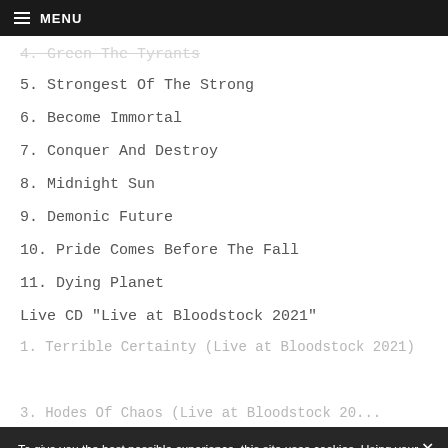MENU
4. Green The Tyrants
5. Strongest Of The Strong
6. Become Immortal
7. Conquer And Destroy
8. Midnight Sun
9. Demonic Future
10. Pride Comes Before The Fall
11. Dying Planet
Live CD "Live at Bloodstock 2021"
1. Terrible Certainty (Live at Bloodstock 2021)
3. Hodes Of Chaos (Live at Bloodstock 2021)
To give you the best possible experience, this site uses cookies. Using your site means your agree to our use of cookies. We have published a new cookies policy, which you should need to find out more about the cookies we use. View cookies policy.